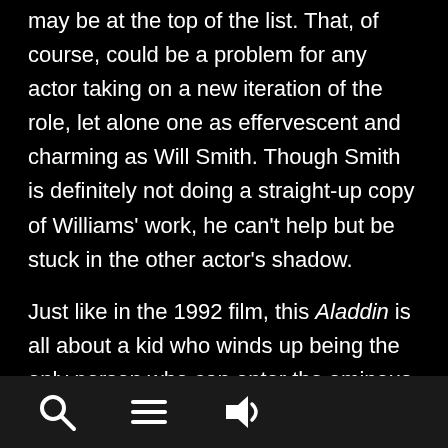may be at the top of the list. That, of course, could be a problem for any actor taking on a new iteration of the role, let alone one as effervescent and charming as Will Smith. Though Smith is definitely not doing a straight-up copy of Williams' work, he can't help but be stuck in the other actor's shadow.
Just like in the 1992 film, this Aladdin is all about a kid who winds up being the only person who can enter the ominous Cave of Wonders and retrieve a magical lamp with a
[Figure (other): Bottom navigation bar with three icons: search (magnifying glass), menu (hamburger/three lines), and audio/volume (speaker with sound waves)]